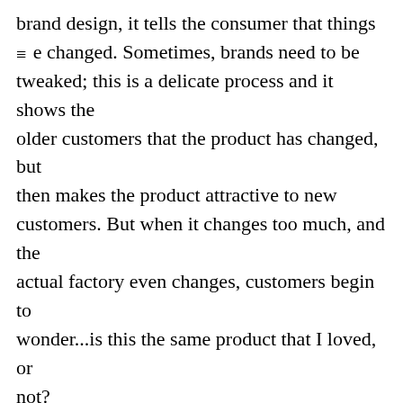brand design, it tells the consumer that things ≡ ve changed. Sometimes, brands need to be tweaked; this is a delicate process and it shows the older customers that the product has changed, but then makes the product attractive to new customers. But when it changes too much, and the actual factory even changes, customers begin to wonder...is this the same product that I loved, or not?
No matter what happens, however, if a brand is still in business, and still has sales, mistakes in packaging are easy to correct. In fact, time begins to fix errors, and what's new today is old tomorrow, and when the new becomes old,